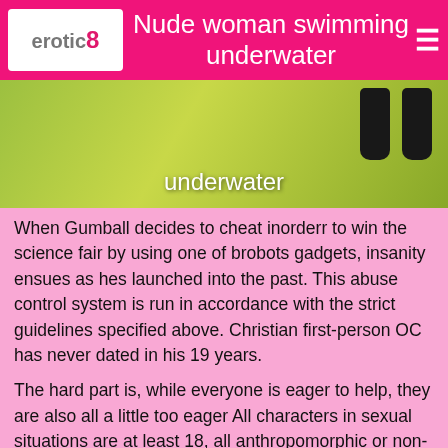erotic8  Nude woman swimming underwater
[Figure (photo): Partial view of a colorful underwater or illustrated scene with dark hanging shapes against a yellow-green background, with overlaid text 'underwater']
When Gumball decides to cheat inorderr to win the science fair by using one of brobots gadgets, insanity ensues as hes launched into the past. This abuse control system is run in accordance with the strict guidelines specified above. Christian first-person OC has never dated in his 19 years.
The hard part is, while everyone is eager to help, they are also all a little too eager All characters in sexual situations are at least 18, all anthropomorphic or non-human creatures are of at least human level intelligence. Ghosts can play you, though: The girl whose whole family has been dead years--and eats without having a stomach--might have some issues. Opinions stated in profiles of